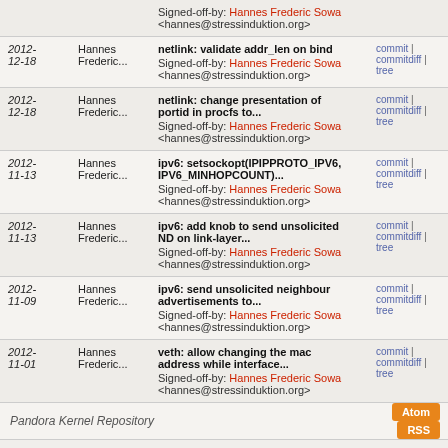| Date | Author | Commit | Links |
| --- | --- | --- | --- |
| (partial) | (partial) | Signed-off-by: Hannes Frederic Sowa <hannes@stressinduktion.org> |  |
| 2012-12-18 | Hannes Frederic... | netlink: validate addr_len on bind
Signed-off-by: Hannes Frederic Sowa <hannes@stressinduktion.org> | commit | commitdiff | tree |
| 2012-12-18 | Hannes Frederic... | netlink: change presentation of portid in procfs to...
Signed-off-by: Hannes Frederic Sowa <hannes@stressinduktion.org> | commit | commitdiff | tree |
| 2012-11-13 | Hannes Frederic... | ipv6: setsockopt(IPIPPROTO_IPV6, IPV6_MINHOPCOUNT)...
Signed-off-by: Hannes Frederic Sowa <hannes@stressinduktion.org> | commit | commitdiff | tree |
| 2012-11-13 | Hannes Frederic... | ipv6: add knob to send unsolicited ND on link-layer...
Signed-off-by: Hannes Frederic Sowa <hannes@stressinduktion.org> | commit | commitdiff | tree |
| 2012-11-09 | Hannes Frederic... | ipv6: send unsolicited neighbour advertisements to...
Signed-off-by: Hannes Frederic Sowa <hannes@stressinduktion.org> | commit | commitdiff | tree |
| 2012-11-01 | Hannes Frederic... | veth: allow changing the mac address while interface...
Signed-off-by: Hannes Frederic Sowa <hannes@stressinduktion.org> | commit | commitdiff | tree |
Pandora Kernel Repository  Atom  RSS